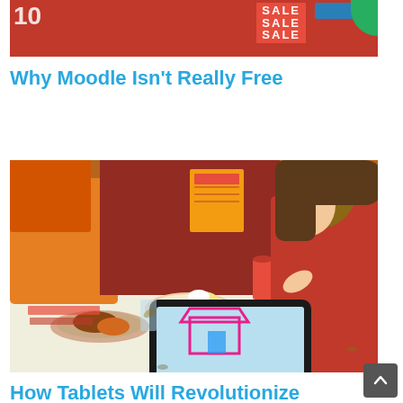[Figure (photo): Top portion of a store front with red SALE signs and blue signage, partially cropped]
Why Moodle Isn't Really Free
[Figure (photo): A young child using a tablet/iPad at a dining table, drawing a house shape on the screen. An adult in orange clothing is visible in the background.]
How Tablets Will Revolutionize